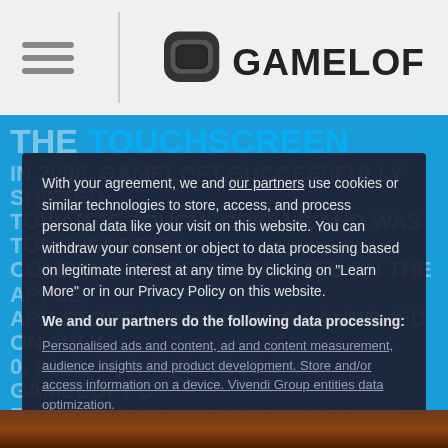GAMELOFT
With your agreement, we and our partners use cookies or similar technologies to store, access, and process personal data like your visit on this website. You can withdraw your consent or object to data processing based on legitimate interest at any time by clicking on "Learn More" or in our Privacy Policy on this website.
We and our partners do the following data processing:
Personalised ads and content, ad and content measurement, audience insights and product development. Store and/or access information on a device. Vivendi Group entities data optimization.
Learn More →
Disagree and close
Agree and close